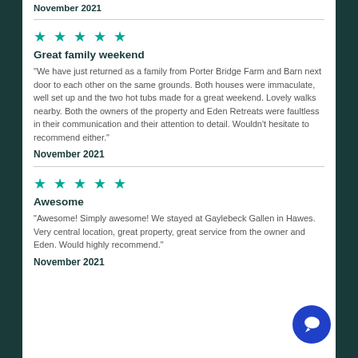November 2021
★★★★★
Great family weekend
"We have just returned as a family from Porter Bridge Farm and Barn next door to each other on the same grounds. Both houses were immaculate, well set up and the two hot tubs made for a great weekend. Lovely walks nearby. Both the owners of the property and Eden Retreats were faultless in their communication and their attention to detail. Wouldn't hesitate to recommend either."
November 2021
★★★★★
Awesome
"Awesome! Simply awesome! We stayed at Gaylebeck Gallen in Hawes. Very central location, great property, great service from the owner and Eden. Would highly recommend."
November 2021